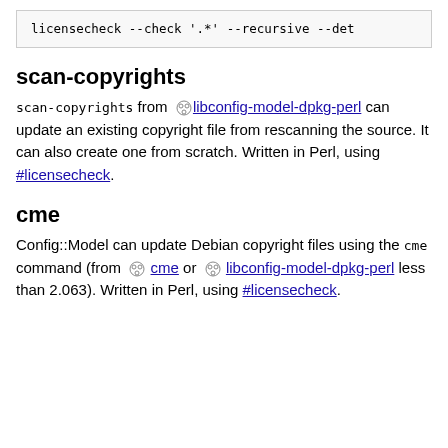licensecheck --check '.*' --recursive --det
scan-copyrights
scan-copyrights from libconfig-model-dpkg-perl can update an existing copyright file from rescanning the source. It can also create one from scratch. Written in Perl, using #licensecheck.
cme
Config::Model can update Debian copyright files using the cme command (from cme or libconfig-model-dpkg-perl less than 2.063). Written in Perl, using #licensecheck.